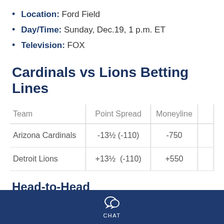Location: Ford Field
Day/Time: Sunday, Dec.19, 1 p.m. ET
Television: FOX
Cardinals vs Lions Betting Lines
| Team | Point Spread | Moneyline |  |
| --- | --- | --- | --- |
| Arizona Cardinals | -13½ (-110) | -750 |  |
| Detroit Lions | +13½  (-110) | +550 |  |
Head-to-Head
When the teams met in 2020, the Arizona Cardinals...
CHAT